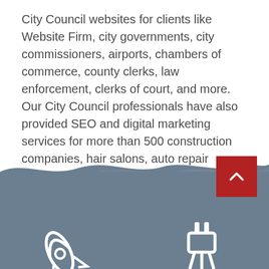City Council websites for clients like Website Firm, city governments, city commissioners, airports, chambers of commerce, county clerks, law enforcement, clerks of court, and more. Our City Council professionals have also provided SEO and digital marketing services for more than 500 construction companies, hair salons, auto repair centers, plumbers, HVAC, lawyers, and more. In other words, we have the core experience for your City Council website project.
[Figure (illustration): Footer section with blue-grey wave background, a red back-to-top button with white chevron arrow, and partial white icon illustrations at the bottom including a rocket/launch icon on the left and a plug/power icon on the right.]